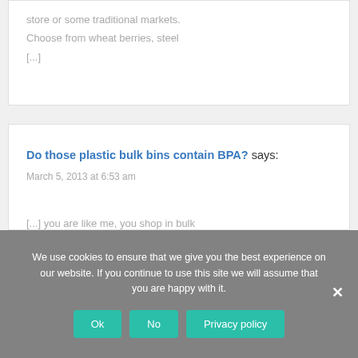store or some traditional markets. Choose from wheat berries, steel [...]
Do those plastic bulk bins contain BPA? says:
March 5, 2013 at 6:53 am
[...] you are like me, you shop in bulk
We use cookies to ensure that we give you the best experience on our website. If you continue to use this site we will assume that you are happy with it.